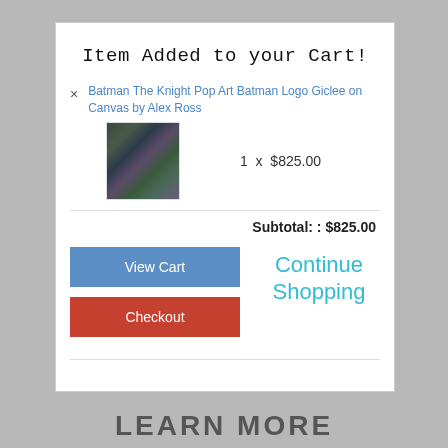Item Added to your Cart!
× Batman The Knight Pop Art Batman Logo Giclee on Canvas by Alex Ross
1 x $825.00
Subtotal: : $825.00
View Cart
Checkout
Continue Shopping
LEARN MORE